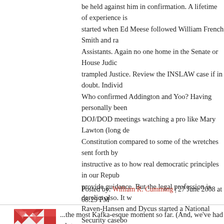be held against him in confirmation. A lifetime of experience is started when Ed Meese followed William French Smith and ra Assistants. Again no one home in the Senate or House Judic trampled Justice. Review the INSLAW case if in doubt. Individ Who confirmed Addington and Yoo? Having personally been DOJ/DOD meetings watching a pro like Mary Lawton (long de Constitution compared to some of the wretches sent forth by instructive as to how real democratic principles in our Repub provide guidance. But the legal profession is derelict also. It v Raven-Hansen and Dycus started a National Security casebo to delve into the national security state warned about by mar Then with treatises by Professor John Norton Moore and othe to be closely examined. By the way National Security Course popular electives in law schools. Why? Small time, middle-tim lawyers get bored after practicing law for 20 or 30 years and n Congress or even the Senate. Which reminds me did Senato security law courses at Harvard? In his long but forshortened McCain take Law of the Sea courses? What was he taught a
Posted by: William R. Cumming | 27 June 2008 at 08:29 PM
...the most Kafka-esque moment so far. (And, we've had a lot